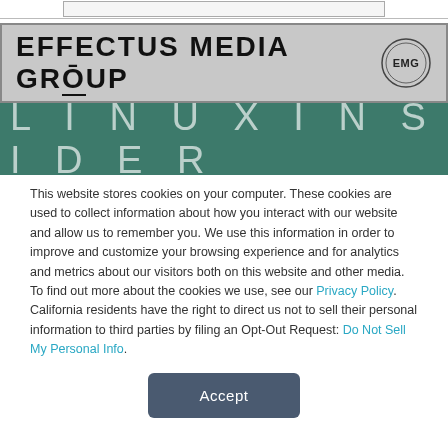[Figure (logo): Effectus Media Group banner with EMG circular logo on grey background]
[Figure (logo): LinuxInsider banner with large spaced white text on dark teal background]
This website stores cookies on your computer. These cookies are used to collect information about how you interact with our website and allow us to remember you. We use this information in order to improve and customize your browsing experience and for analytics and metrics about our visitors both on this website and other media. To find out more about the cookies we use, see our Privacy Policy. California residents have the right to direct us not to sell their personal information to third parties by filing an Opt-Out Request: Do Not Sell My Personal Info.
Accept